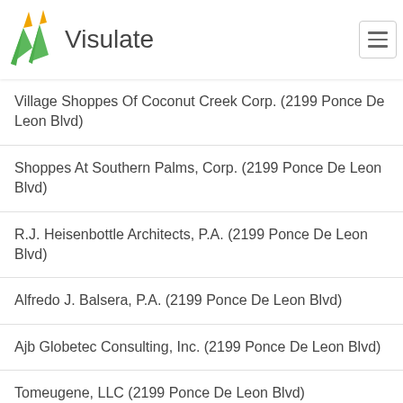Visulate
Village Shoppes Of Coconut Creek Corp. (2199 Ponce De Leon Blvd)
Shoppes At Southern Palms, Corp. (2199 Ponce De Leon Blvd)
R.J. Heisenbottle Architects, P.A. (2199 Ponce De Leon Blvd)
Alfredo J. Balsera, P.A. (2199 Ponce De Leon Blvd)
Ajb Globetec Consulting, Inc. (2199 Ponce De Leon Blvd)
Tomeugene, LLC (2199 Ponce De Leon Blvd)
Technostar Corp (147 Alhambra Circle Suite 220)
W&C Enterprises, LLC (147 Alhambra Circle #220)
Ruiz Tax And Accounting Services, Inc. (147 Alhambra Circle #220)